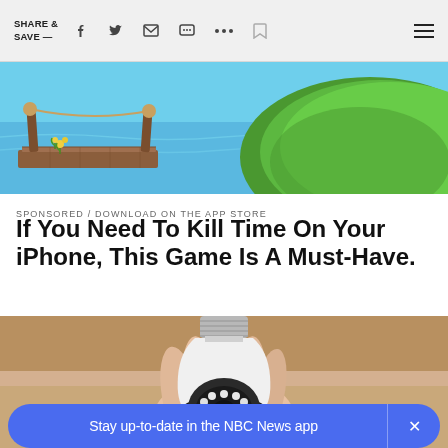SHARE & SAVE —
[Figure (screenshot): Game screenshot showing a wooden dock over water with a tropical green island in the background]
SPONSORED / DOWNLOAD ON THE APP STORE
If You Need To Kill Time On Your iPhone, This Game Is A Must-Have.
[Figure (photo): A hand holding a white light bulb security camera with a dark lens and LED lights]
Stay up-to-date in the NBC News app